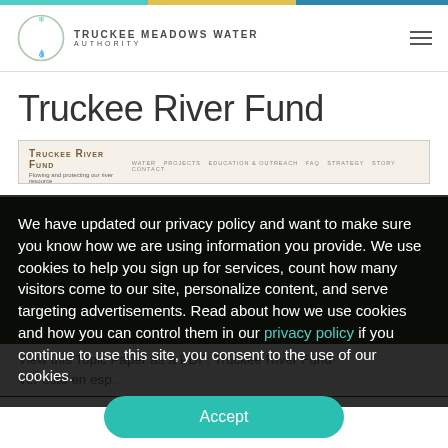Truckee Meadows Water Authority
Truckee River Fund
[Figure (screenshot): Screenshot of Truckee River Fund website header with navigation links]
We have updated our privacy policy and want to make sure you know how we are using information you provide. We use cookies to help you sign up for services, count how many visitors come to our site, personalize content, and serve targeting advertisements. Read about how we use cookies and how you can control them in our privacy policy if you continue to use this site, you consent to the use of our cookies.
View this Topic Paper as a PDF: Truckee River Fund
Ver esto en esp...
Accept